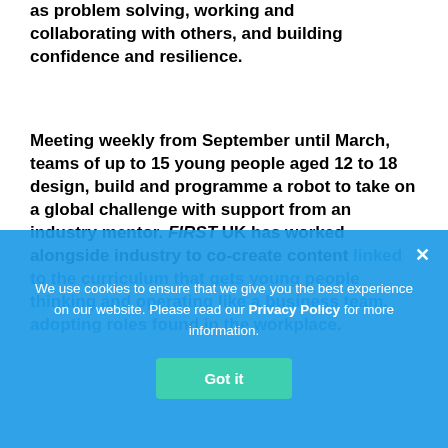as problem solving, working and collaborating with others, and building confidence and resilience.
Meeting weekly from September until March, teams of up to 15 young people aged 12 to 18 design, build and programme a robot to take on a global challenge with support from an industry mentor. FIRST UK has worked alongside industry to co-create content linked to the curriculum that gets young people thinking and operating like a business team, adopting roles found in the workplace.
We use cookies to ensure that we give you the best experience on our website. Please read our Privacy Policy for more information.